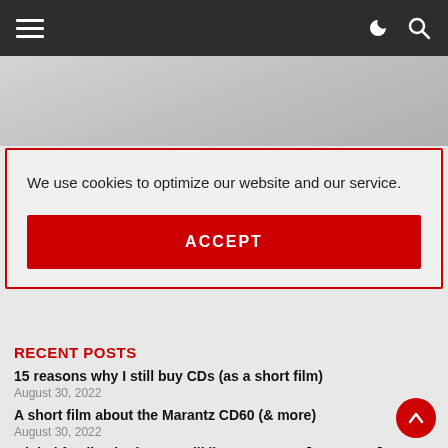Navigation bar with hamburger menu, dark mode toggle, and search icon
[Figure (photo): Grey gradient banner/advertisement area]
We use cookies to optimize our website and our service.
ACCEPT
RECENT POSTS
15 reasons why I still buy CDs (as a short film)
August 30, 2022
A short film about the Marantz CD60 (& more)
August 30, 2022
Global feedback: do you still listen to CDs? [UPDATED]